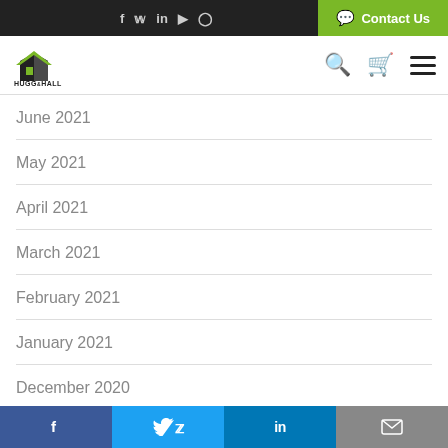Hugg & Hall website header with social icons and navigation
June 2021
May 2021
April 2021
March 2021
February 2021
January 2021
December 2020
November 2020
October 2020
September 2020
August 2020
Social share bar: Facebook, Twitter, LinkedIn, Email